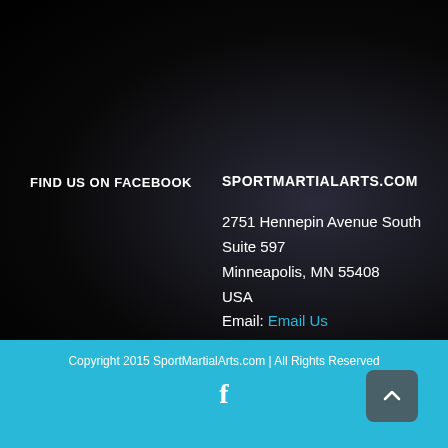FIND US ON FACEBOOK
SPORTMARTIALARTS.COM
2751 Hennepin Avenue South
Suite 597
Minneapolis, MN 55408
USA
Email: Email Us
Web: Website
Copyright 2015 SportMartialArts.com | All Rights Reserved